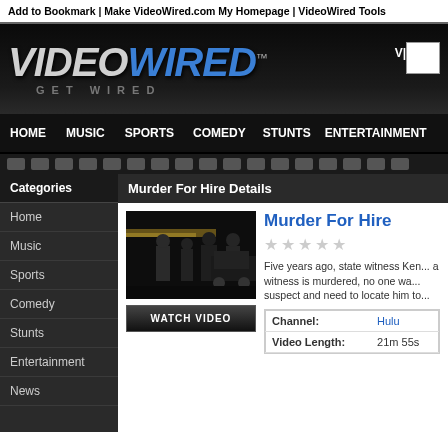Add to Bookmark | Make VideoWired.com My Homepage | VideoWired Tools
[Figure (logo): VideoWired logo with GET WIRED tagline on dark background]
HOME | MUSIC | SPORTS | COMEDY | STUNTS | ENTERTAINMENT
Murder For Hire Details
Categories
Home
Music
Sports
Comedy
Stunts
Entertainment
News
[Figure (photo): Dark scene with people standing near a vehicle at night]
Murder For Hire
Five years ago, state witness Ken... a witness is murdered, no one wa... suspect and need to locate him to...
| Field | Value |
| --- | --- |
| Channel: | Hulu |
| Video Length: | 21m 55s |